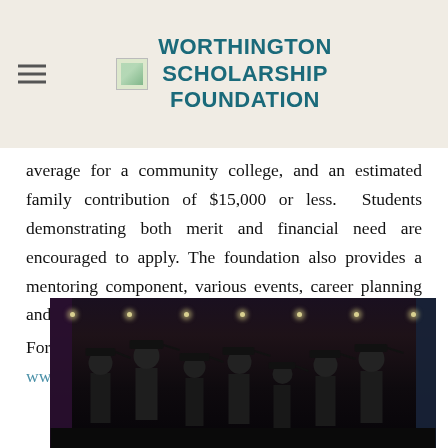WORTHINGTON SCHOLARSHIP FOUNDATION
average for a community college, and an estimated family contribution of $15,000 or less. Students demonstrating both merit and financial need are encouraged to apply. The foundation also provides a mentoring component, various events, career planning and intern placements. For more information, please visit our website at www.worthingtonscholars.org or call (207) 596-5800.
[Figure (photo): Group photo of graduating students in caps and gowns on a stage with dark curtains and stage lighting in the background.]